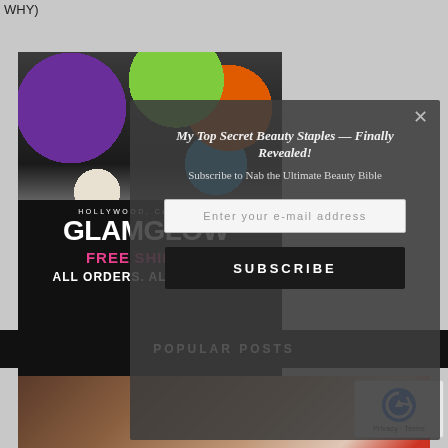WHY)
[Figure (photo): Beauty and skincare products flat lay with colorful packaging]
[Figure (advertisement): GLAMGLOW Hollywood California ad — FREE SHIPPING ALL ORDERS. ALL THE TIME.]
[Figure (screenshot): Modal popup overlay: My Top Secret Beauty Staples — Finally Revealed! Subscribe to Nab the Ultimate Beauty Bible. Email input and SUBSCRIBE button.]
POPULAR POSTS
[Figure (photo): Model/person photo in lower portion of page]
[Figure (other): reCAPTCHA widget — Privacy · Terms]